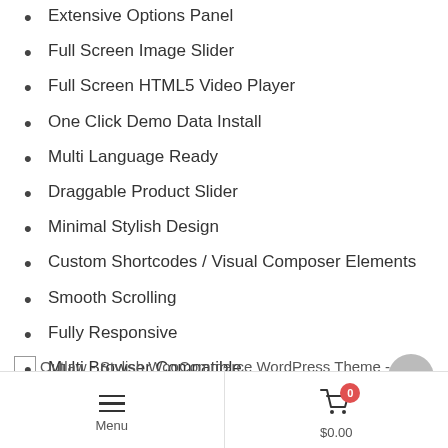Extensive Options Panel
Full Screen Image Slider
Full Screen HTML5 Video Player
One Click Demo Data Install
Multi Language Ready
Draggable Product Slider
Minimal Stylish Design
Custom Shortcodes / Visual Composer Elements
Smooth Scrolling
Fully Responsive
Multi Browser Compatible
Beautiful CSS Effects throughout
Plus Much More
[Figure (photo): Broken image placeholder: Outlaw - Stylish WooCommerce WordPress Theme - 3]
Customization
Menu | $0.00